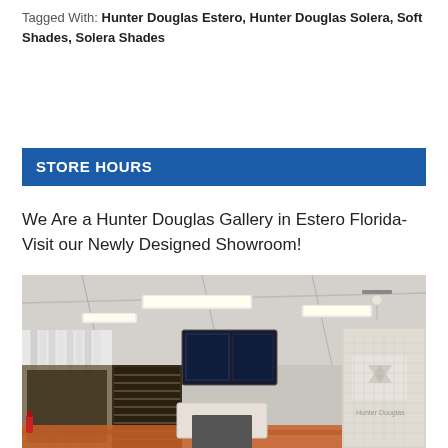Tagged With: Hunter Douglas Estero, Hunter Douglas Solera, Soft Shades, Solera Shades
STORE HOURS
We Are a Hunter Douglas Gallery in Estero Florida- Visit our Newly Designed Showroom!
[Figure (photo): Interior photo of a Hunter Douglas Gallery showroom in Estero, Florida. The showroom features a high ceiling with fluorescent and track lighting, display panels for window blinds and shades on the left wall, mounted TV screens, a central table with product samples, and a Hunter Douglas logo grid panel on the right wall.]